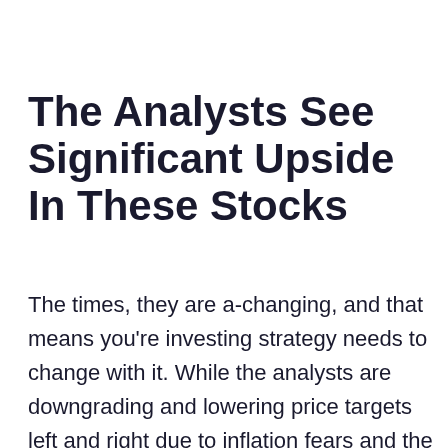The Analysts See Significant Upside In These Stocks
The times, they are a-changing, and that means you're investing strategy needs to change with it. While the analysts are downgrading and lowering price targets left and right due to inflation fears and the growing threat of recession that is not all the